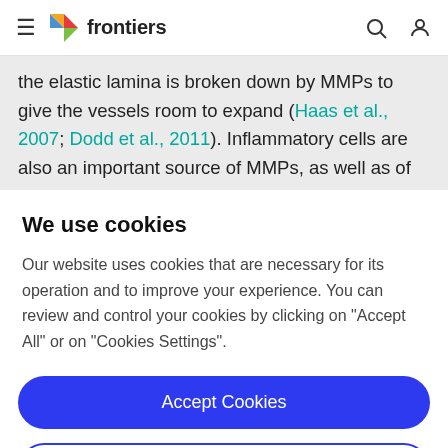frontiers
the elastic lamina is broken down by MMPs to give the vessels room to expand (Haas et al., 2007; Dodd et al., 2011). Inflammatory cells are also an important source of MMPs, as well as of other proteases. Macrophages secrete cytokines that induce MMP expression by
We use cookies
Our website uses cookies that are necessary for its operation and to improve your experience. You can review and control your cookies by clicking on "Accept All" or on "Cookies Settings".
Accept Cookies
Cookies Settings